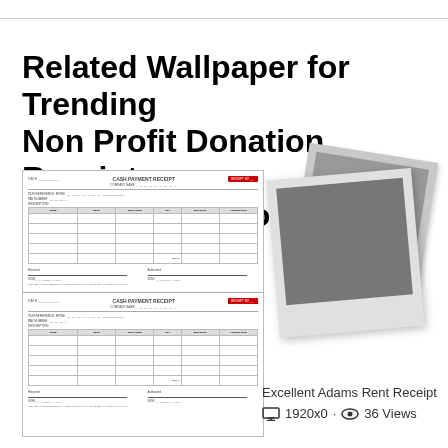Related Wallpaper for Trending Non Profit Donation Receipts Template Awesome
[Figure (screenshot): Two cash payment receipt form templates shown as document thumbnails stacked vertically]
[Figure (photo): Two polaroid-style placeholder images stacked at an angle, showing gray rectangles]
Excellent Adams Rent Receipt
1920x0 · 36 Views